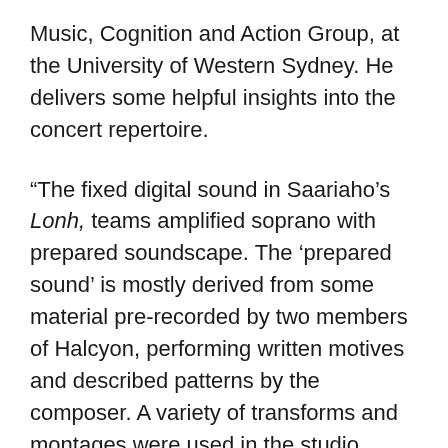Music, Cognition and Action Group, at the University of Western Sydney. He delivers some helpful insights into the concert repertoire.
“The fixed digital sound in Saariaho’s Lonh, teams amplified soprano with prepared soundscape. The ‘prepared sound’ is mostly derived from some material pre-recorded by two members of Halcyon, performing written motives and described patterns by the composer. A variety of transforms and montages were used in the studio. Some of the motivic elements which were performed in the recordings are still detectable in the transforms, and they are used as the compositional basis of the notated live vocal parts. They also contribute to the gentle groove of a bass-line which appears at